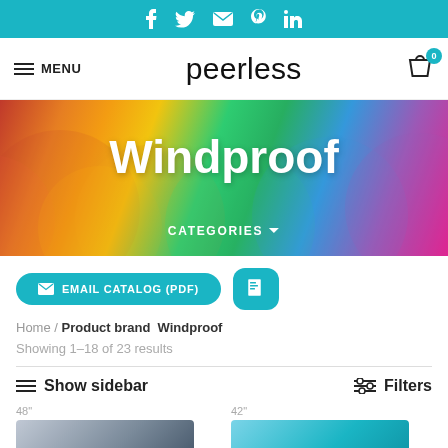Social bar with icons: Facebook, Twitter, Email, Pinterest, LinkedIn
MENU | peerless | Cart (0)
[Figure (photo): Hero banner with colorful windproof umbrellas, overlaid text 'Windproof' and 'CATEGORIES']
EMAIL CATALOG (PDF)
Home / Product brand  Windproof
Showing 1–18 of 23 results
Show sidebar
Filters
48"
42"